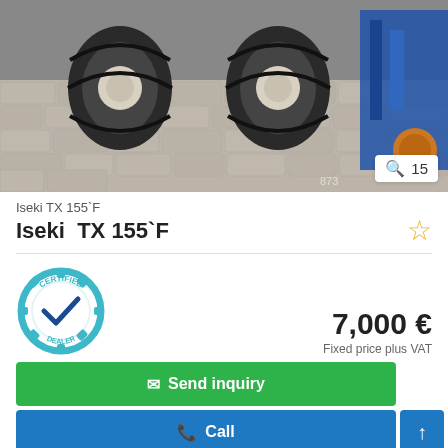[Figure (photo): Photo of Iseki TX 155 F tractor wheels/tires on cobblestone pavement, blue implement visible at right. Photo badge shows zoom icon and count 15. Watermark '873' visible.]
Iseki TX 155`F
Iseki  TX 155`F
[Figure (logo): Certified Dealer badge - teal gear shape with checkmark and text CERTIFIED DEALER]
7,000 €
Fixed price plus VAT
✉ Send inquiry
📞 Call
➤ Save search query
Luttenberg 🇳🇱